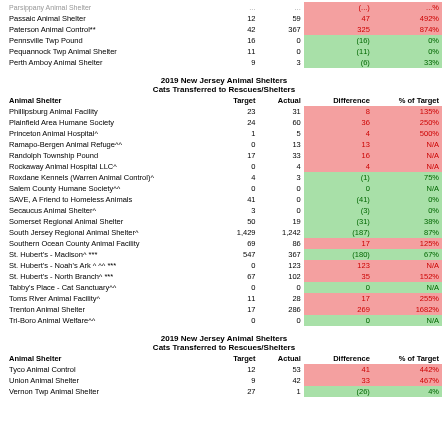| Animal Shelter | Target | Actual | Difference | % of Target |
| --- | --- | --- | --- | --- |
| Parsippany Animal Shelter | ... | ... | (...) | ...% |
| Passaic Animal Shelter | 12 | 59 | 47 | 492% |
| Paterson Animal Control** | 42 | 367 | 325 | 874% |
| Pennsville Twp Pound | 16 | 0 | (16) | 0% |
| Pequannock Twp Animal Shelter | 11 | 0 | (11) | 0% |
| Perth Amboy Animal Shelter | 9 | 3 | (6) | 33% |
2019 New Jersey Animal Shelters
Cats Transferred to Rescues/Shelters
| Animal Shelter | Target | Actual | Difference | % of Target |
| --- | --- | --- | --- | --- |
| Phillipsburg Animal Facility | 23 | 31 | 8 | 135% |
| Plainfield Area Humane Society | 24 | 60 | 36 | 250% |
| Princeton Animal Hospital^ | 1 | 5 | 4 | 500% |
| Ramapo-Bergen Animal Refuge^^ | 0 | 13 | 13 | N/A |
| Randolph Township Pound | 17 | 33 | 16 | N/A |
| Rockaway Animal Hospital LLC^ | 0 | 4 | 4 | N/A |
| Roxdane Kennels (Warren Animal Control)^ | 4 | 3 | (1) | 75% |
| Salem County Humane Society^^ | 0 | 0 | 0 | N/A |
| SAVE, A Friend to Homeless Animals | 41 | 0 | (41) | 0% |
| Secaucus Animal Shelter^ | 3 | 0 | (3) | 0% |
| Somerset Regional Animal Shelter | 50 | 19 | (31) | 38% |
| South Jersey Regional Animal Shelter^ | 1,429 | 1,242 | (187) | 87% |
| Southern Ocean County Animal Facility | 69 | 86 | 17 | 125% |
| St. Hubert's - Madison^ *** | 547 | 367 | (180) | 67% |
| St. Hubert's - Noah's Ark ^ ^^ *** | 0 | 123 | 123 | N/A |
| St. Hubert's - North Branch^ *** | 67 | 102 | 35 | 152% |
| Tabby's Place - Cat Sanctuary^^ | 0 | 0 | 0 | N/A |
| Toms River Animal Facility^ | 11 | 28 | 17 | 255% |
| Trenton Animal Shelter | 17 | 286 | 269 | 1682% |
| Tri-Boro Animal Welfare^^ | 0 | 0 | 0 | N/A |
2019 New Jersey Animal Shelters
Cats Transferred to Rescues/Shelters
| Animal Shelter | Target | Actual | Difference | % of Target |
| --- | --- | --- | --- | --- |
| Tyco Animal Control | 12 | 53 | 41 | 442% |
| Union Animal Shelter | 9 | 42 | 33 | 467% |
| Vernon Twp Animal Shelter | 27 | 1 | (26) | 4% |